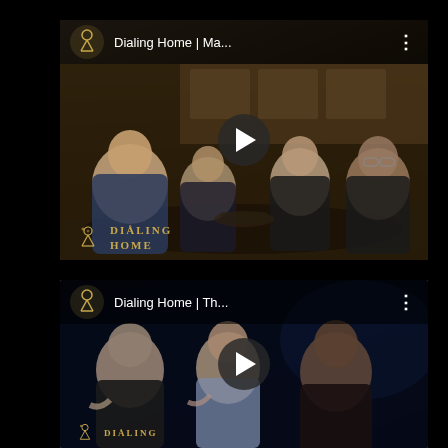[Figure (screenshot): Video thumbnail card for 'Dialing Home | Ma...' showing four men sitting around a table in a kitchen, laughing. Card has a dark top bar with Dialing Home logo, video title, and three-dot menu. A play button is centered on the thumbnail. Bottom-left shows the Dialing Home logo and text.]
[Figure (screenshot): Video thumbnail card for 'Dialing Home | Th...' showing three older men in a dark setting, laughing together. Card has a dark top bar with Dialing Home logo, video title, and three-dot menu. A play button is centered on the thumbnail. Partially cut off at bottom. An up-arrow scroll indicator appears at the right edge.]